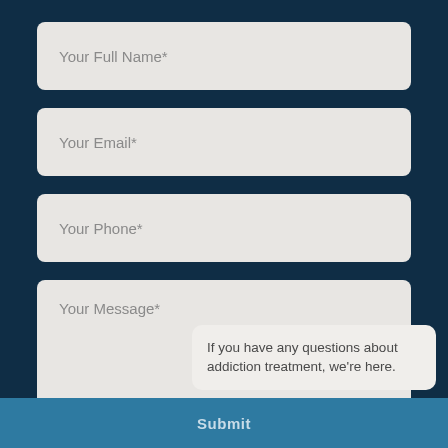Your Full Name*
Your Email*
Your Phone*
Your Message*
If you have any questions about addiction treatment, we're here.
Submit